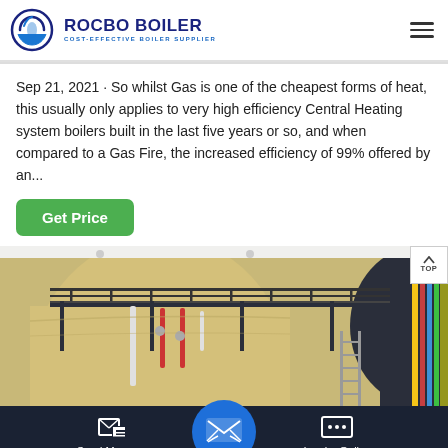[Figure (logo): Rocbo Boiler logo with circular swirl icon and text 'ROCBO BOILER - COST-EFFECTIVE BOILER SUPPLIER']
Sep 21, 2021 · So whilst Gas is one of the cheapest forms of heat, this usually only applies to very high efficiency Central Heating system boilers built in the last five years or so, and when compared to a Gas Fire, the increased efficiency of 99% offered by an...
[Figure (photo): Industrial boiler room with large cylindrical boiler tanks, metal piping, red pipes, scaffolding walkway, and industrial equipment]
Send Message | Inquiry Online